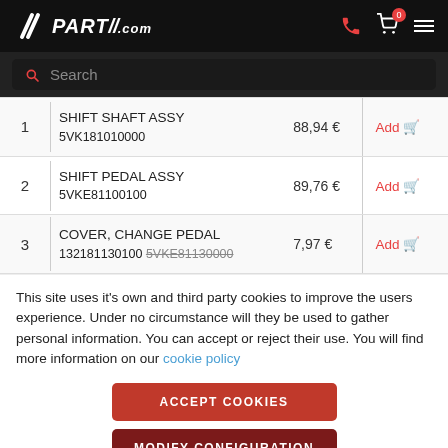[Figure (logo): PARTSS.COM logo in white italic text on black background with SS swoosh icon]
| # | Part Name / Code | Price | Action |
| --- | --- | --- | --- |
| 1 | SHIFT SHAFT ASSY
5VK181010000 | 88,94 € | Add |
| 2 | SHIFT PEDAL ASSY
5VKE81100100 | 89,76 € | Add |
| 3 | COVER, CHANGE PEDAL
132181130100 5VKE81130000 | 7,97 € | Add |
This site uses it's own and third party cookies to improve the users experience. Under no circumstance will they be used to gather personal information. You can accept or reject their use. You will find more information on our cookie policy
ACCEPT COOKIES
MODIFY CONFIGURATION